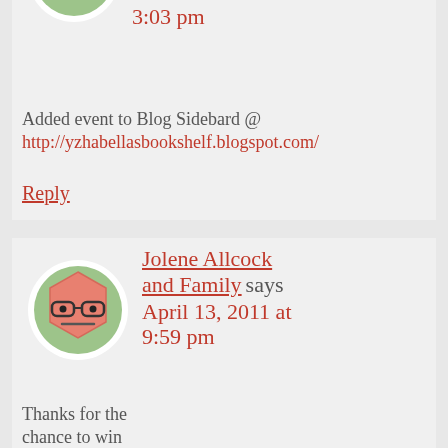[Figure (illustration): Cartoon avatar: salmon/pink hexagonal face with flat expression on green circular background with white border]
3:03 pm
Added event to Blog Sidebard @ http://yzhabellasbookshelf.blogspot.com/
Reply
[Figure (illustration): Cartoon avatar: salmon/pink hexagonal face with glasses and skeptical expression on green circular background with white border]
Jolene Allcock and Family says April 13, 2011 at 9:59 pm
Thanks for the chance to win those, so excited!! checked out